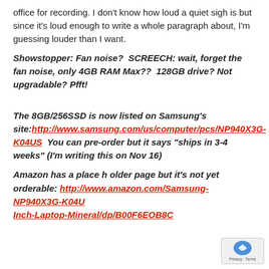office for recording. I don't know how loud a quiet sigh is but since it's loud enough to write a whole paragraph about, I'm guessing louder than I want.
Showstopper: Fan noise?  SCREECH: wait, forget the fan noise, only 4GB RAM Max??  128GB drive? Not upgradable? Pfft!
The 8GB/256SSD is now listed on Samsung's site:http://www.samsung.com/us/computer/pcs/NP940X3G-K04US  You can pre-order but it says "ships in 3-4 weeks" (I'm writing this on Nov 16)
Amazon has a place h older page but it's not yet orderable: http://www.amazon.com/Samsung-NP940X3G-K04U…Inch-Laptop-Mineral/dp/B00F6EOB8C